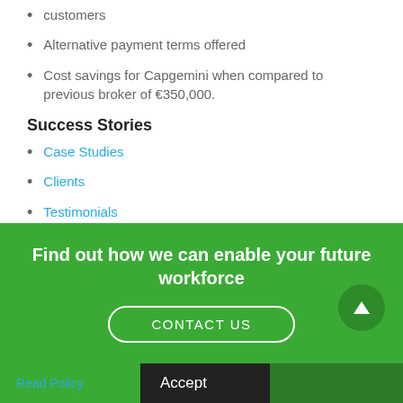customers
Alternative payment terms offered
Cost savings for Capgemini when compared to previous broker of €350,000.
Success Stories
Case Studies
Clients
Testimonials
Find out how we can enable your future workforce
CONTACT US
Read Policy
Accept